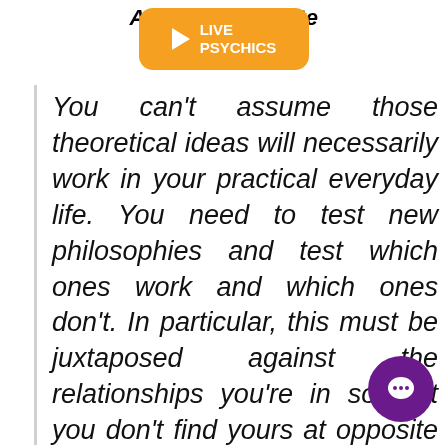Astrologer's Note
[Figure (other): Orange rounded rectangle button with play icon and text LIVE PSYCHICS]
You can't assume those theoretical ideas will necessarily work in your practical everyday life. You need to test new philosophies and test which ones work and which ones don't. In particular, this must be juxtaposed against the relationships you're in so that you don't find yours at opposite ends of the